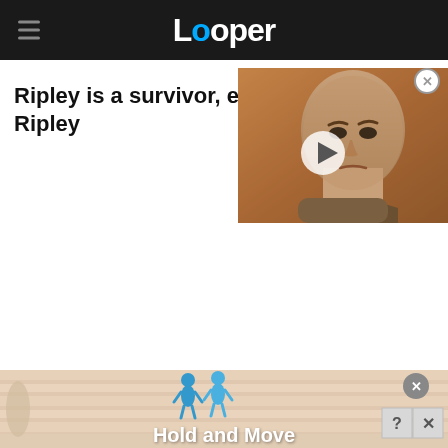Looper
Ripley is a survivor, eve... Ripley
[Figure (photo): Video thumbnail showing a bald man with a serious expression, with a play button overlay]
[Figure (infographic): Advertisement banner with striped background, two blue figurine icons, close/question/X buttons, and text 'Hold and Move']